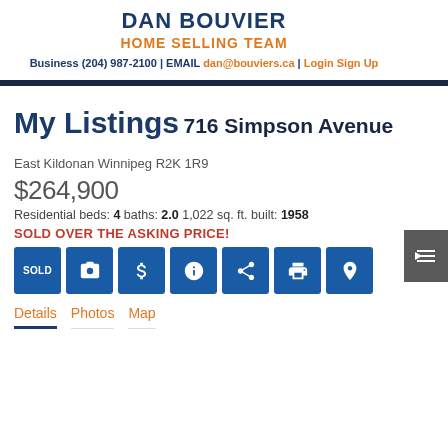DAN BOUVIER
HOME SELLING TEAM
Business (204) 987-2100 | EMAIL dan@bouviers.ca | Login Sign Up
My Listings
716 Simpson Avenue
East Kildonan Winnipeg R2K 1R9
$264,900
Residential beds: 4 baths: 2.0 1,022 sq. ft. built: 1958
SOLD OVER THE ASKING PRICE!
SOLD [camera] [$] [info] [share] [print] [pin]
Details
Photos
Map